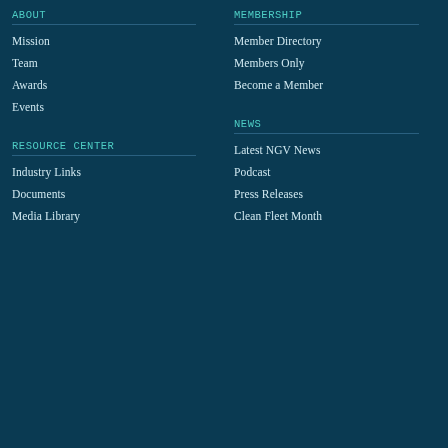ABOUT
Mission
Team
Awards
Events
RESOURCE CENTER
Industry Links
Documents
Media Library
MEMBERSHIP
Member Directory
Members Only
Become a Member
NEWS
Latest NGV News
Podcast
Press Releases
Clean Fleet Month